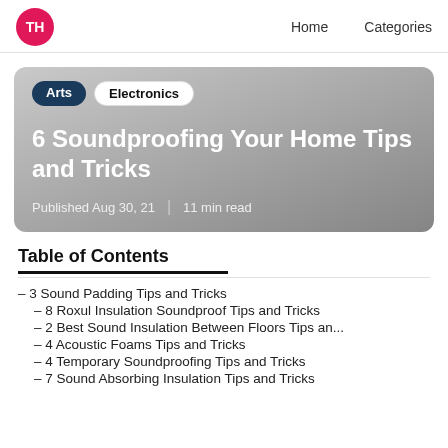TH  Home  Categories
[Figure (other): Hero card with gradient grey background showing article tags (Arts, Electronics), title '6 Soundproofing Your Home Tips and Tricks', and metadata 'Published Aug 30, 21 | 11 min read']
6 Soundproofing Your Home Tips and Tricks
Published Aug 30, 21  |  11 min read
Table of Contents
– 3 Sound Padding Tips and Tricks
– 8 Roxul Insulation Soundproof Tips and Tricks
– 2 Best Sound Insulation Between Floors Tips an...
– 4 Acoustic Foams Tips and Tricks
– 4 Temporary Soundproofing Tips and Tricks
– 7 Sound Absorbing Insulation Tips and Tricks